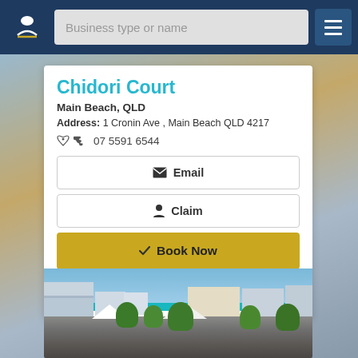[Figure (screenshot): Navigation bar with logo, search field 'Business type or name', and hamburger menu]
Chidori Court
Main Beach, QLD
Address: 1 Cronin Ave , Main Beach QLD 4217
07 5591 6544
Email
Claim
Book Now
View Details
[Figure (photo): Aerial photo of Chidori Court building complex in Main Beach QLD, showing multi-storey residential buildings surrounded by palm trees and vegetation]